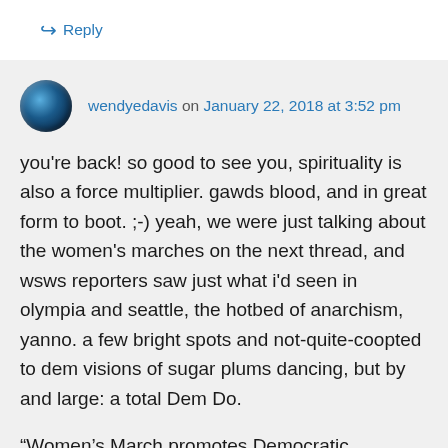↪ Reply
wendyedavis on January 22, 2018 at 3:52 pm
you're back! so good to see you, spirituality is also a force multiplier. gawds blood, and in great form to boot. ;-) yeah, we were just talking about the women's marches on the next thread, and wsws reporters saw just what i'd seen in olympia and seattle, the hotbed of anarchism, yanno. a few bright spots and not-quite-coopted to dem visions of sugar plums dancing, but by and large: a total Dem Do.
“Women’s March promotes Democratic